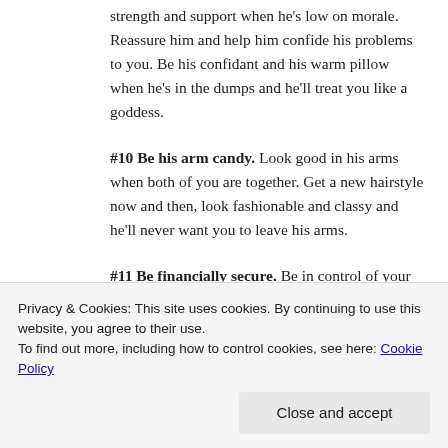strength and support when he's low on morale. Reassure him and help him confide his problems to you. Be his confidant and his warm pillow when he's in the dumps and he'll treat you like a goddess.
#10 Be his arm candy. Look good in his arms when both of you are together. Get a new hairstyle now and then, look fashionable and classy and he'll never want you to leave his arms.
#11 Be financially secure. Be in control of your finances and have a well settled job. Guys love a girl with a steady head on her shoulders. At the same time, they stay a mile away from careless spendthrifts!
Privacy & Cookies: This site uses cookies. By continuing to use this website, you agree to their use. To find out more, including how to control cookies, see here: Cookie Policy